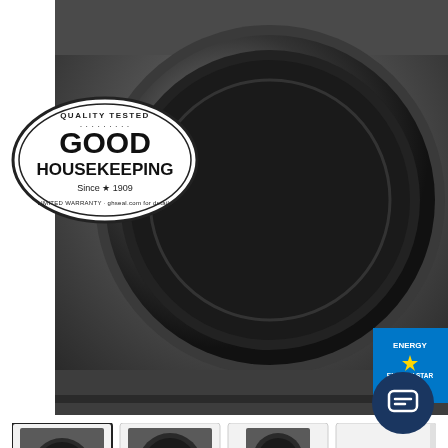[Figure (photo): GE front-load electric dryer in metallic graphite color with Good Housekeeping Quality Tested seal overlay and Energy Star badge in bottom-right corner]
[Figure (photo): Four thumbnail images of the GE dryer from different angles: front with drum visible (selected/active), full front view, front with pedestal, and control panel detail]
4.7  |  849 Reviews
GE® 7.8 cu. ft. Capacity Smart Front Load Electric Dryer with Steam and Sanitize Cycle